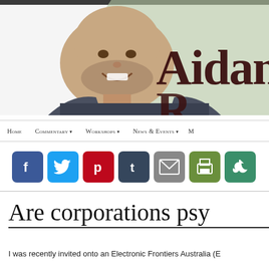[Figure (photo): Website header banner showing a smiling bald man with grey stubble against a background with a large light green circle and bold text 'AidanR' (partially cropped)]
Home  Commentary ▾  Workshops ▾  News & Events ▾  M
[Figure (infographic): Row of social media sharing icons: Facebook (blue f), Twitter (blue bird), Pinterest (red P), Tumblr (dark blue t), Email (grey envelope), Print (green printer), Share (green circular arrows)]
Are corporations psy
I was recently invited onto an Electronic Frontiers Australia (E